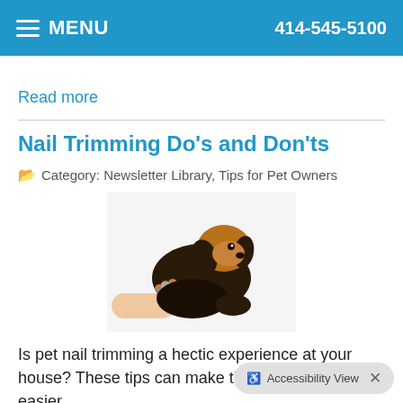MENU  414-545-5100
Read more
Nail Trimming Do's and Don'ts
Category: Newsletter Library, Tips for Pet Owners
[Figure (photo): A dog having its nails trimmed — a black and tan dachshund-type dog extending its paw to a person holding nail clippers.]
Is pet nail trimming a hectic experience at your house? These tips can make the process a little easier.
Read more